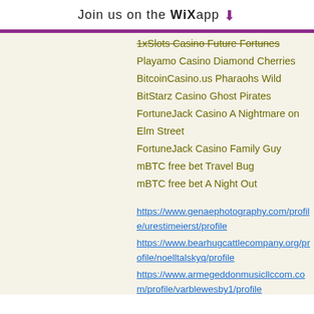Join us on the WiX app ⬇
1xSlots Casino Future Fortunes
Playamo Casino Diamond Cherries
BitcoinCasino.us Pharaohs Wild
BitStarz Casino Ghost Pirates
FortuneJack Casino A Nightmare on Elm Street
FortuneJack Casino Family Guy
mBTC free bet Travel Bug
mBTC free bet A Night Out
https://www.genaephotography.com/profile/urestimeierst/profile
https://www.bearhugcattlecompany.org/profile/noelltalskyq/profile
https://www.armegeddonmusicllccom.com/profile/varblewesby1/profile
https://sk.shifticlothingco.com/profile/urestimeierst/profile